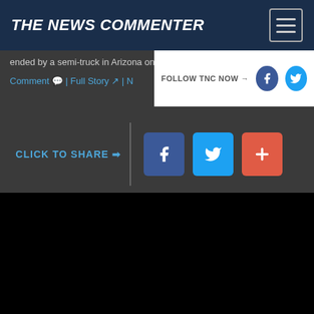THE NEWS COMMENTER
ended by a semi-truck in Arizona on Sunday.
Comment | Full Story | N...
[Figure (screenshot): Follow TNC Now panel with Facebook and Twitter icons]
[Figure (infographic): Click to Share section with Facebook, Twitter, and plus social share buttons]